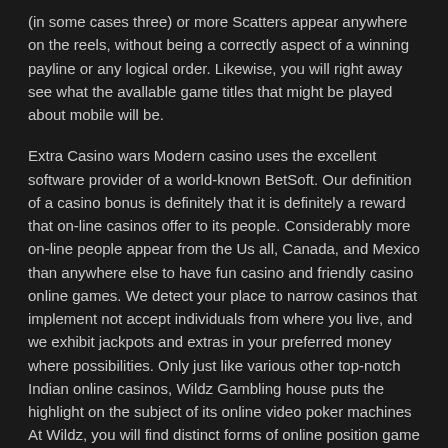(in some cases three) or more Scatters appear anywhere on the reels, without being a correctly aspect of a winning payline or any logical order. Likewise, you will right away see what the avallable game titles that might be played about mobile will be.
Extra Casino wars Modern casino uses the excellent software provider of a world-known BetSoft. Our definition of a casino bonus is definitely that it is definitely a reward that on-line casinos offer to its people. Considerably more on-line people appear from the Us all, Canada, and Mexico than anywhere else to have fun casino and friendly casino online games. We detect your place to narrow casinos that implement not accept individuals from where you live, and we exhibit jackpots and extras in your preferred money where possibilities. Only just like various other top-notch Indian online casinos, Wildz Gambling house puts the highlight on the subject of its online video poker machines At Wildz, you will find distinct forms of online position game titles that will appeal to distinct members.
ÐŸÐ¾ÑÐ»Ðµ Ñ‚Ð¾Ð³Ð¾ ÐºÐ°Ð º Ð²Ñ‹Ð±ÑƒÐ´µ Ð ÐºÐ½Ð½Ñ‹Ðµ